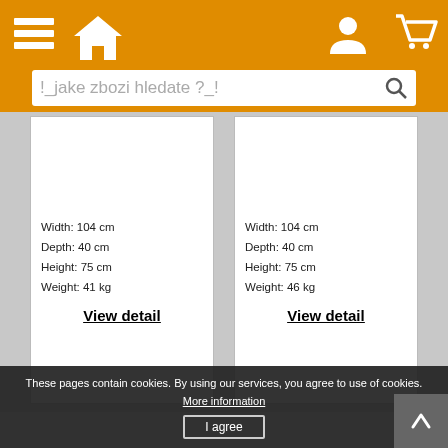[Figure (screenshot): Orange navigation header bar with hamburger menu, home icon on the left, and user/cart icons on the right]
[Figure (screenshot): Search bar with placeholder text '!_jake zbozi hledate ?_!' and a search button]
Width: 104 cm
Depth: 40 cm
Height: 75 cm
Weight: 41 kg
View detail
Width: 104 cm
Depth: 40 cm
Height: 75 cm
Weight: 46 kg
View detail
These pages contain cookies. By using our services, you agree to use of cookies.
More information
I agree